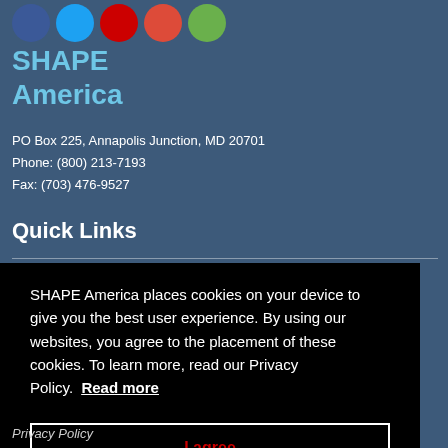[Figure (illustration): Row of five circular social media icons: Facebook (blue), Twitter (light blue), YouTube/red circle, Google+ (red), LinkedIn/green]
SHAPE America
PO Box 225, Annapolis Junction, MD 20701
Phone: (800) 213-7193
Fax: (703) 476-9527
Quick Links
SHAPE America places cookies on your device to give you the best user experience. By using our websites, you agree to the placement of these cookies. To learn more, read our Privacy Policy. Read more
I agree
Privacy Policy